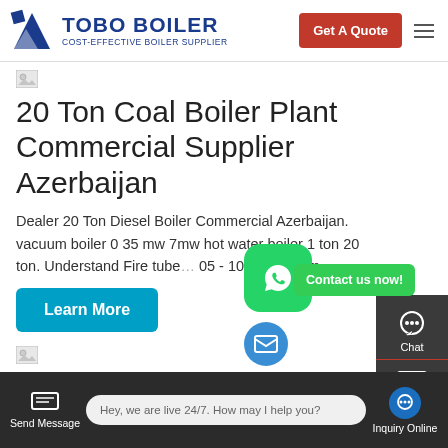TOBO BOILER — COST-EFFECTIVE BOILER SUPPLIER | Get A Quote
[Figure (screenshot): Broken image placeholder thumbnail]
20 Ton Coal Boiler Plant Commercial Supplier Azerbaijan
Dealer 20 Ton Diesel Boiler Commercial Azerbaijan. vacuum boiler 0 35 mw 7mw hot water boiler 1 ton 20 ton. Understand Fire tube 05 - 10 fired steam ...
[Figure (screenshot): Learn More button — teal/cyan CTA button]
[Figure (screenshot): Broken image placeholder thumbnail for second article]
Energy Saving Dealer 20 Ton oil fired Boiler
[Figure (screenshot): Right sidebar with Chat, Email, TOP icons on dark background]
[Figure (screenshot): WhatsApp green floating button overlay]
[Figure (screenshot): Contact us now! green button overlay]
Send Message | Hey, we are live 24/7. How may I help you? | Inquiry Online